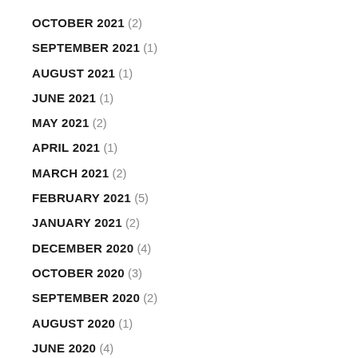OCTOBER 2021 (2)
SEPTEMBER 2021 (1)
AUGUST 2021 (1)
JUNE 2021 (1)
MAY 2021 (2)
APRIL 2021 (1)
MARCH 2021 (2)
FEBRUARY 2021 (5)
JANUARY 2021 (2)
DECEMBER 2020 (4)
OCTOBER 2020 (3)
SEPTEMBER 2020 (2)
AUGUST 2020 (1)
JUNE 2020 (4)
APRIL 2020 (1)